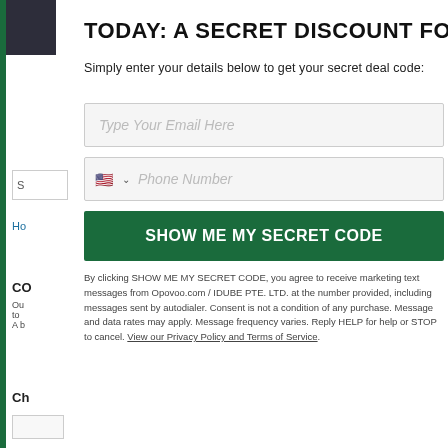TODAY: A SECRET DISCOUNT FOR YOU
Simply enter your details below to get your secret deal code:
Type Your Email Here
Phone Number
SHOW ME MY SECRET CODE
By clicking SHOW ME MY SECRET CODE, you agree to receive marketing text messages from Opovoo.com / IDUBE PTE. LTD. at the number provided, including messages sent by autodialer. Consent is not a condition of any purchase. Message and data rates may apply. Message frequency varies. Reply HELP for help or STOP to cancel. View our Privacy Policy and Terms of Service.